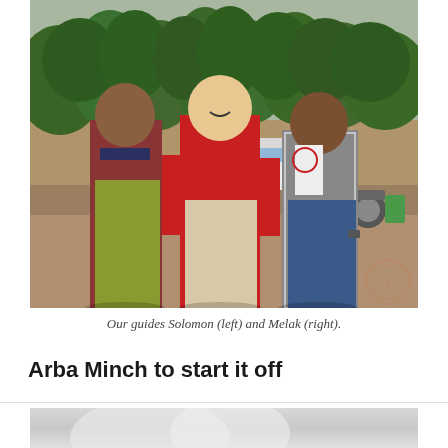[Figure (photo): Three men standing together outdoors in a parking area with trees and a white van in the background. The man on the left wears a dark navy shirt and green-yellow pants. The man in the center wears a red long-sleeve shirt and beige pants. The man on the right wears a gray and white jersey-style shirt and jeans. They have their arms around each other and are smiling.]
Our guides Solomon (left) and Melak (right).
Arba Minch to start it off
[Figure (photo): Partially visible photo at the bottom of the page showing what appears to be a light-colored landscape or sky scene, cropped.]